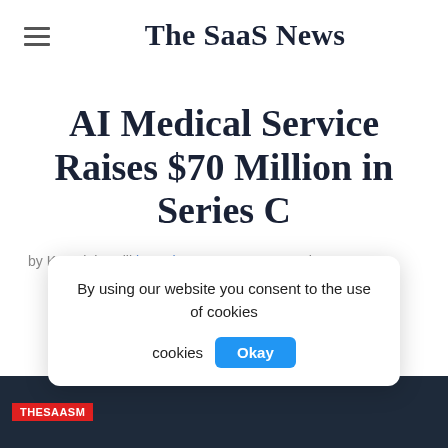The SaaS News
AI Medical Service Raises $70 Million in Series C
by Kay Aloha Vill... in Series C · May 26th, 2022
By using our website you consent to the use of cookies  Okay
[Figure (screenshot): Dark banner strip at bottom with red THESAASM tag label]